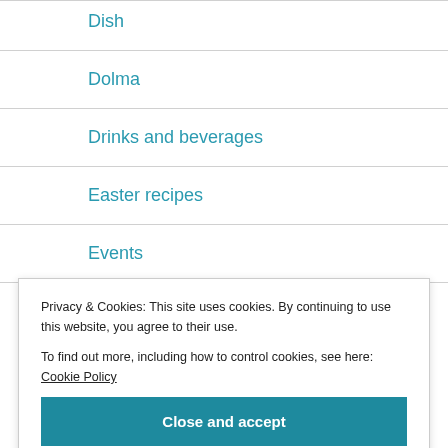Dish
Dolma
Drinks and beverages
Easter recipes
Events
Falafel
Privacy & Cookies: This site uses cookies. By continuing to use this website, you agree to their use.
To find out more, including how to control cookies, see here: Cookie Policy
Close and accept
Date Bread 1